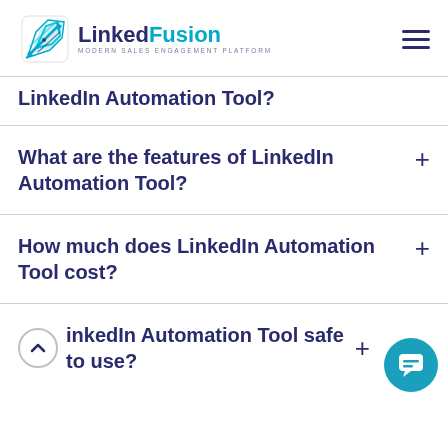LinkedFusion — Modern Sales Engagement Platform
LinkedIn Automation Tool?
What are the features of LinkedIn Automation Tool?
How much does LinkedIn Automation Tool cost?
Is LinkedIn Automation Tool safe to use?